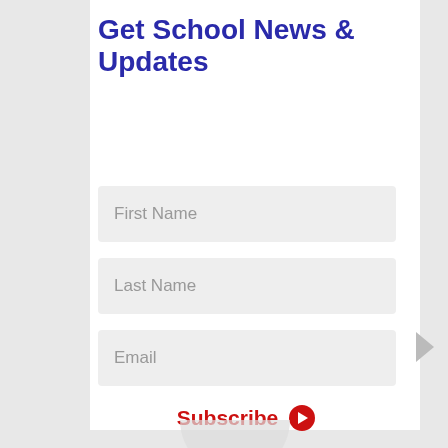Get School News & Updates
First Name
Last Name
Email
Subscribe →